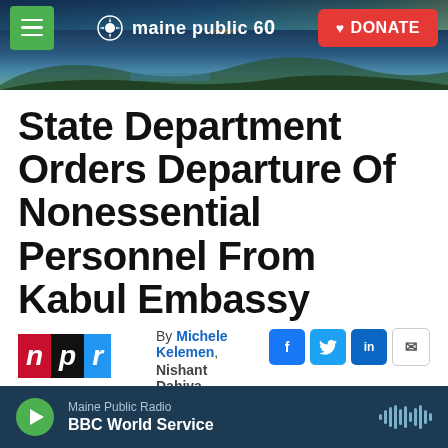[Figure (screenshot): Maine Public 60th anniversary website header banner with landscape photo showing sunrise over hills and water. Green hamburger menu button on left, Maine Public 60 logo in center, red DONATE button on right.]
State Department Orders Departure Of Nonessential Personnel From Kabul Embassy
[Figure (logo): NPR logo with three colored blocks: red N, black P, blue R]
By Michele Kelemen, Nishant Dahiya
Published April 27, 2021 at 2:09 PM EDT
[Figure (infographic): Social sharing buttons: Facebook (blue f), Twitter (blue bird), LinkedIn (blue in), Email (envelope)]
[Figure (infographic): Audio player bar: green play button, Maine Public Radio / BBC World Service label, audio waveform icon on right]